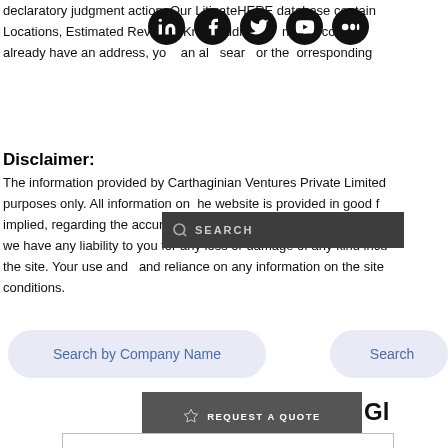declaratory judgment action. Our LitigateHERE database contains Locations, Estimated Revenue, Know Addresses and the corresponding already have an address, you can also search for the corresponding
[Figure (infographic): Social media icons (LinkedIn, Facebook, Twitter, YouTube, Medium) displayed as white icons on black circular backgrounds in a horizontal row]
Disclaimer:
The information provided by Carthaginian Ventures Private Limited purposes only. All information on the website is provided in good faith implied, regarding the accuracy, adequacy, validity, reliability, availability we have any liability to you for any loss or damage of any kind incurred the site. Your use and and reliance on any information on the site conditions.
[Figure (screenshot): Dark search bar overlay showing a search icon and the text SEARCH in grey/white]
Search by Company Name
Search
[Figure (screenshot): Dark grey button with star icon and text REQUEST A QUOTE]
Gl